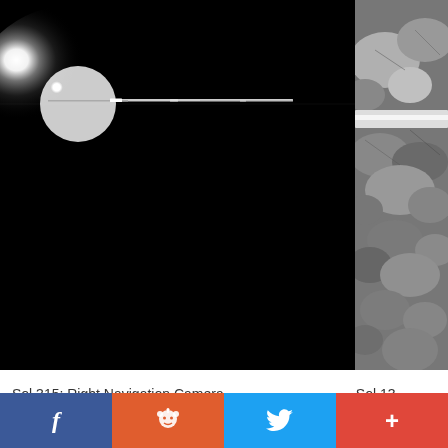[Figure (photo): Mars navigation camera image showing a bright sun/glare in upper left corner with a thin horizontal antenna or rod extending to the right across the image, against a completely black background. Sol 315: Right Navigation Camera.]
Sol 315: Right Navigation Camera
[Figure (photo): Partial image of rocky Martian surface terrain, grayscale, showing rocks and rough ground. Sol 13X (text cut off).]
Sol 13